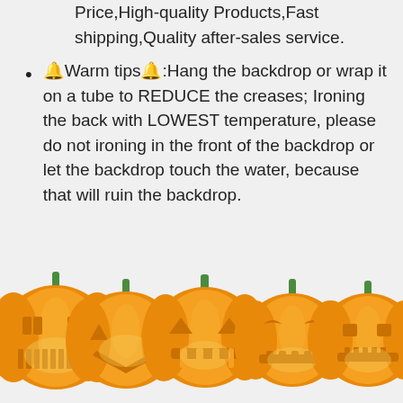Price,High-quality Products,Fast shipping,Quality after-sales service.
《Warm tips》:Hang the backdrop or wrap it on a tube to REDUCE the creases; Ironing the back with LOWEST temperature, please do not ironing in the front of the backdrop or let the backdrop touch the water, because that will ruin the backdrop.
[Figure (illustration): A row of five carved Halloween jack-o-lantern pumpkins with glowing faces, orange with green stems, displayed along the bottom of the page.]